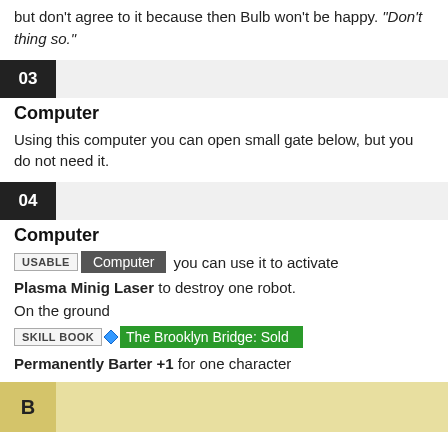but don't agree to it because then Bulb won't be happy. "Don't thing so."
03
Computer
Using this computer you can open small gate below, but you do not need it.
04
Computer
USABLE Computer you can use it to activate Plasma Minig Laser to destroy one robot.
On the ground
SKILL BOOK The Brooklyn Bridge: Sold
Permanently Barter +1 for one character
B